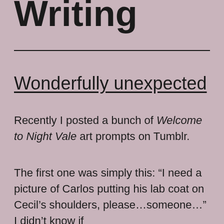Writing
Wonderfully unexpected
Recently I posted a bunch of Welcome to Night Vale art prompts on Tumblr.
The first one was simply this: “I need a picture of Carlos putting his lab coat on Cecil’s shoulders, please…someone…” I didn’t know if